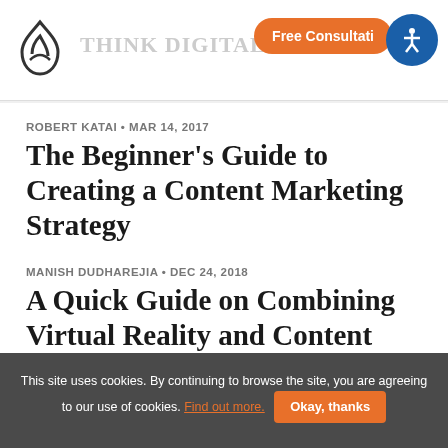Free Consultation
ROBERT KATAI • MAR 14, 2017
The Beginner's Guide to Creating a Content Marketing Strategy
MANISH DUDHAREJIA • DEC 24, 2018
A Quick Guide on Combining Virtual Reality and Content Marketing
This site uses cookies. By continuing to browse the site, you are agreeing to our use of cookies. Find out more. Okay, thanks